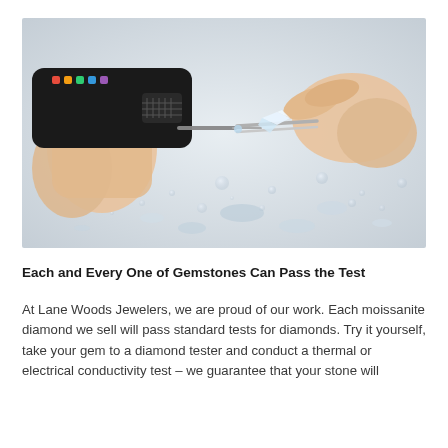[Figure (photo): A close-up photo of two hands testing a gemstone. The left hand holds a diamond tester device (black with colorful indicators), and the right hand holds the gemstone with tweezers. The background shows water droplets/bubbles scattered on a reflective surface.]
Each and Every One of Gemstones Can Pass the Test
At Lane Woods Jewelers, we are proud of our work. Each moissanite diamond we sell will pass standard tests for diamonds. Try it yourself, take your gem to a diamond tester and conduct a thermal or electrical conductivity test – we guarantee that your stone will